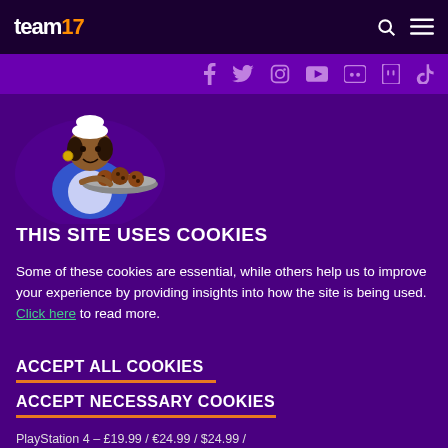team17
[Figure (screenshot): Team17 website navigation bar with logo on left and search/menu icons on right, and social media icon bar below]
[Figure (illustration): Animated character - a woman in blue outfit holding a tray of cookies]
THIS SITE USES COOKIES
Some of these cookies are essential, while others help us to improve your experience by providing insights into how the site is being used. Click here to read more.
ACCEPT ALL COOKIES
ACCEPT NECESSARY COOKIES
PlayStation 4 – £19.99 / €24.99 / $24.99 /